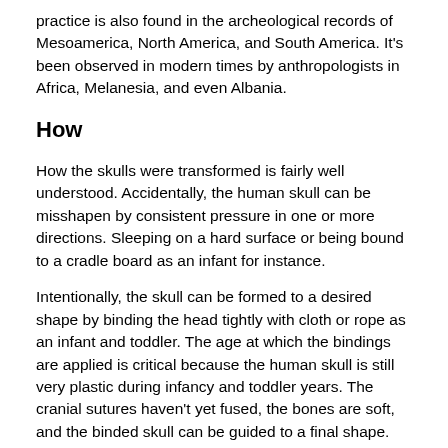practice is also found in the archeological records of Mesoamerica, North America, and South America. It's been observed in modern times by anthropologists in Africa, Melanesia, and even Albania.
How
How the skulls were transformed is fairly well understood. Accidentally, the human skull can be misshapen by consistent pressure in one or more directions. Sleeping on a hard surface or being bound to a cradle board as an infant for instance.
Intentionally, the skull can be formed to a desired shape by binding the head tightly with cloth or rope as an infant and toddler. The age at which the bindings are applied is critical because the human skull is still very plastic during infancy and toddler years. The cranial sutures haven't yet fused, the bones are soft, and the binded skull can be guided to a final shape.